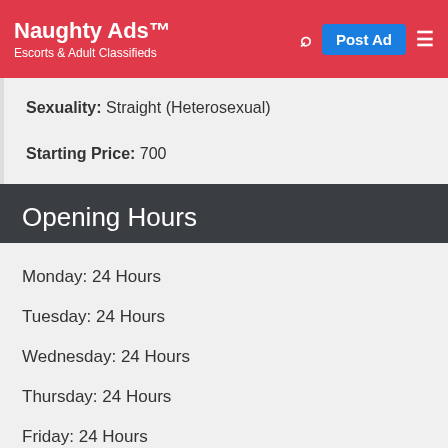Naughty Ads™ — Escorts & Adult Classifieds
Sexuality: Straight (Heterosexual)
Starting Price: 700
Opening Hours
Monday: 24 Hours
Tuesday: 24 Hours
Wednesday: 24 Hours
Thursday: 24 Hours
Friday: 24 Hours